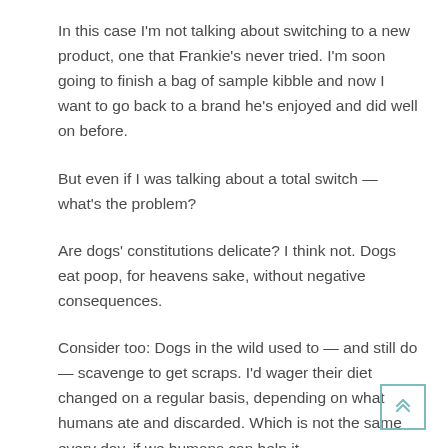In this case I'm not talking about switching to a new product, one that Frankie's never tried. I'm soon going to finish a bag of sample kibble and now I want to go back to a brand he's enjoyed and did well on before.
But even if I was talking about a total switch — what's the problem?
Are dogs' constitutions delicate? I think not. Dogs eat poop, for heavens sake, without negative consequences.
Consider too: Dogs in the wild used to — and still do — scavenge to get scraps. I'd wager their diet changed on a regular basis, depending on what humans ate and discarded. Which is not the same every day, if we humans can help it.